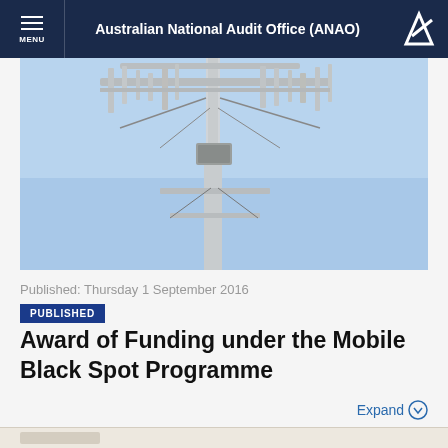Australian National Audit Office (ANAO)
[Figure (photo): Close-up photograph of a telecommunications tower/antenna structure against a clear blue sky, showing multiple antenna arrays and cables mounted on a metal pole.]
Published: Thursday 1 September 2016
PUBLISHED
Award of Funding under the Mobile Black Spot Programme
Expand